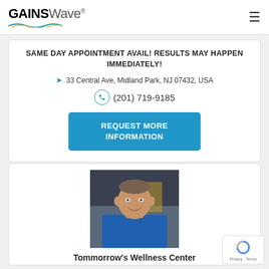GAINSWave® [hamburger menu]
SAME DAY APPOINTMENT AVAIL! RESULTS MAY HAPPEN IMMEDIATELY!
33 Central Ave, Midland Park, NJ 07432, USA
(201) 719-9185
REQUEST MORE INFORMATION
[Figure (photo): Portrait photo of a middle-aged male doctor wearing blue scrubs, smiling at the camera, in a clinical setting]
Tommorrow's Wellness Center